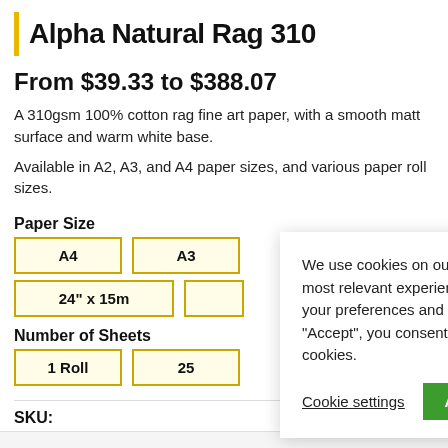Alpha Natural Rag 310
From $39.33 to $388.07
A 310gsm 100% cotton rag fine art paper, with a smooth matt surface and warm white base.
Available in A2, A3, and A4 paper sizes, and various paper roll sizes.
Paper Size
A4   A3   [partial button row]
24" x 15m   [partial button row]
Number of Sheets
1 Roll   25
We use cookies on our website to give you the most relevant experience by remembering your preferences and repeat visits. By clicking “Accept”, you consent to the use of ALL the cookies.
Cookie settings   ACCEPT
SKU: